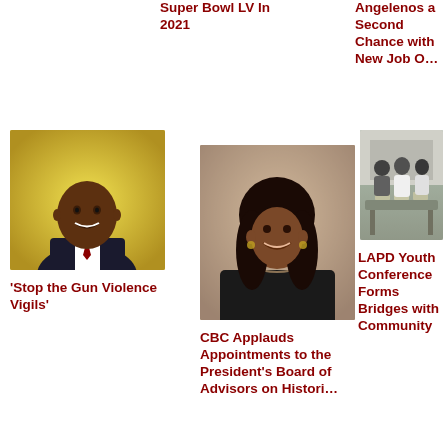Super Bowl LV In 2021
Angelenos a Second Chance with New Job O…
[Figure (photo): Headshot of a smiling Black man in a dark suit with red tie, against yellow bokeh background]
[Figure (photo): Portrait of a smiling Black woman with dark curly hair wearing a black top and necklace]
[Figure (photo): Group of people at an outdoor event, serving food at a table]
'Stop the Gun Violence Vigils'
CBC Applauds Appointments to the President's Board of Advisors on Histori…
LAPD Youth Conference Forms Bridges with Community